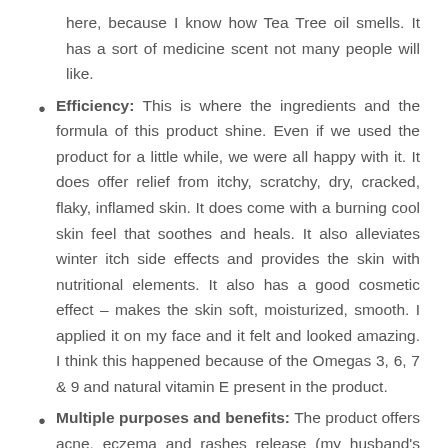here, because I know how Tea Tree oil smells. It has a sort of medicine scent not many people will like.
Efficiency: This is where the ingredients and the formula of this product shine. Even if we used the product for a little while, we were all happy with it. It does offer relief from itchy, scratchy, dry, cracked, flaky, inflamed skin. It does come with a burning cool skin feel that soothes and heals. It also alleviates winter itch side effects and provides the skin with nutritional elements. It also has a good cosmetic effect – makes the skin soft, moisturized, smooth. I applied it on my face and it felt and looked amazing. I think this happened because of the Omegas 3, 6, 7 & 9 and natural vitamin E present in the product.
Multiple purposes and benefits: The product offers acne, eczema and rashes release (my husband's face turns into a mess after each shaving). I was pleased with the old honest Tea Tree oil but when it comes to